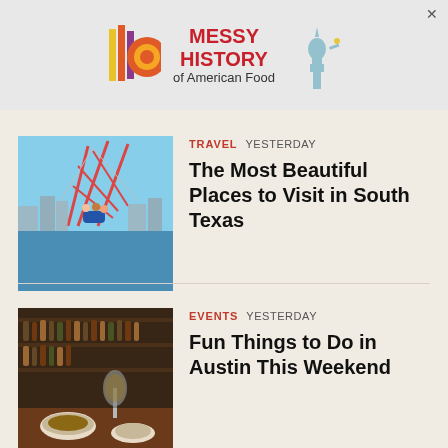[Figure (other): Advertisement banner for 'Messy History of American Food' with colorful logo and Statue of Liberty image]
TRAVEL  YESTERDAY
The Most Beautiful Places to Visit in South Texas
[Figure (photo): Roller coaster or amusement ride structure near a waterfront with city skyline in background]
EVENTS  YESTERDAY
Fun Things to Do in Austin This Weekend
[Figure (photo): Bar or restaurant interior with shelves of bottles, food and drinks on a wooden table in foreground]